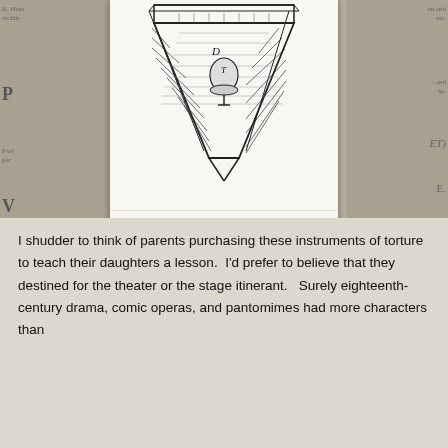[Figure (illustration): An old engraving showing a triangular/funnel-shaped device labeled with 'D' and 'T', resembling a magical bell and bushel apparatus used in conjuring tricks, set within a rectangular frame.]
How to show the magical bell and bushel.
This feat may well be called magical, for realy it is very amazing if it be well handled ; this device wa was never known to the public before.

This bushel must be turned neatly like unto the egg-boxes, so that they cannot find
I shudder to think of parents purchasing these instruments of torture to teach their daughters a lesson.  I'd prefer to believe that they destined for the theater or the stage itinerant.   Surely eighteenth-century drama, comic operas, and pantomimes had more characters than